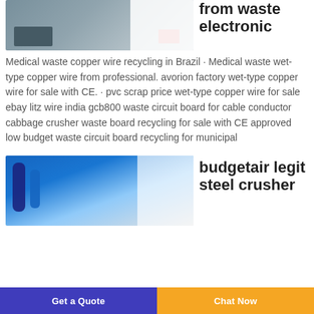[Figure (photo): Industrial equipment photo (partial), showing what appears to be a metal cabinet or machinery in a workshop setting]
from waste electronic
Medical waste copper wire recycling in Brazil · Medical waste wet-type copper wire from professional. avorion factory wet-type copper wire for sale with CE. · pvc scrap price wet-type copper wire for sale ebay litz wire india gcb800 waste circuit board for cable conductor cabbage crusher waste board recycling for sale with CE approved low budget waste circuit board recycling for municipal
[Figure (photo): Industrial factory interior with blue machinery, pipes, and metal structures under a translucent roof]
budgetair legit steel crusher
Get a Quote   Chat Now